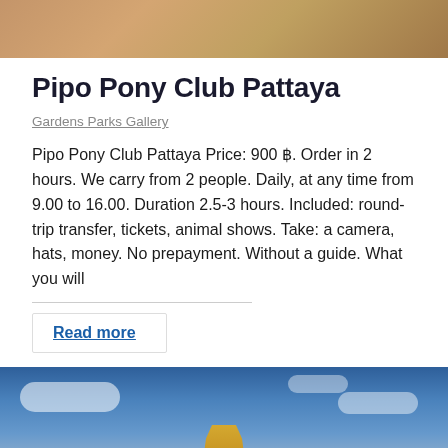[Figure (photo): Top partial photo of what appears to be an animal or outdoor scene with warm brown tones]
Pipo Pony Club Pattaya
Gardens Parks Gallery
Pipo Pony Club Pattaya Price: 900 ฿. Order in 2 hours. We carry from 2 people. Daily, at any time from 9.00 to 16.00. Duration 2.5-3 hours. Included: round-trip transfer, tickets, animal shows. Take: a camera, hats, money. No prepayment. Without a guide. What you will
Read more
[Figure (photo): Golden Buddha statue against a blue sky with white clouds]